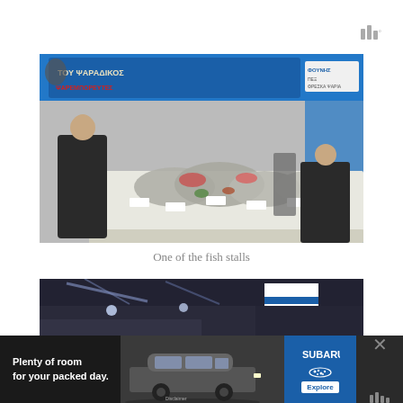[Figure (logo): Three vertical bars logo with superscript degree symbol, gray color]
[Figure (photo): A fish market stall with a blue sign in Greek reading 'TOY ΨΑΡΑΔΙΚΟΣ' with various fresh fish and seafood displayed on ice, a vendor in dark clothing standing on the left, and another person on the right. Hanging lights illuminate the stall.]
One of the fish stalls
[Figure (photo): Partial view of another market stall or indoor space, appears to show blue and white colors, possibly Greek flag colors, taken at night or in low light.]
[Figure (screenshot): Advertisement banner: dark background with text 'Plenty of room for your packed day.' and image of a Subaru SUV, Subaru logo in blue box with 'Explore' button, and close X button. Disclaimer text visible.]